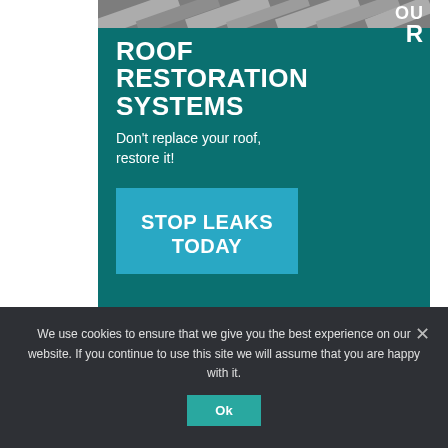[Figure (screenshot): Roof restoration systems advertisement banner with teal background. Shows a partial roof image at top, bold white title 'ROOF RESTORATION SYSTEMS', subtitle 'Don’t replace your roof, restore it!', and a blue 'STOP LEAKS TODAY' button. Bottom right corner shows a 'OUR' text fragment in white.]
SUBSCRIBE TO OUR
We use cookies to ensure that we give you the best experience on our website. If you continue to use this site we will assume that you are happy with it.
Ok